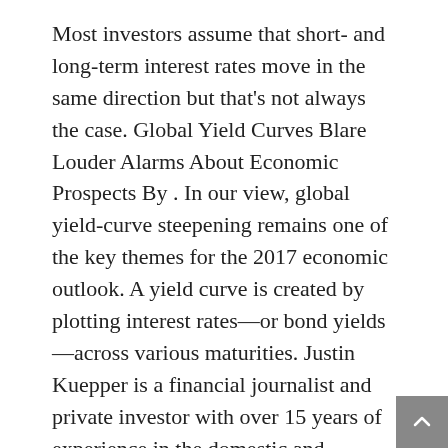Most investors assume that short- and long-term interest rates move in the same direction but that's not always the case. Global Yield Curves Blare Louder Alarms About Economic Prospects By . In our view, global yield-curve steepening remains one of the key themes for the 2017 economic outlook. A yield curve is created by plotting interest rates—or bond yields—across various maturities. Justin Kuepper is a financial journalist and private investor with over 15 years of experience in the domestic and international markets. Yield curves are pointing towards sharp slowdowns in the US, eurozone, Japan and Israel. Can Bonds Predict the Direction of the Economy? There are therefore scenarios where short-term interest rates may be falling and long-term interest rates will be rising if the market thinks that short-term rates are set too low. Benjamin Purvis. This method provides a yield for a 10 year maturity, for example, even if no outstanding security has exactly 10 years remaining to maturity. The following